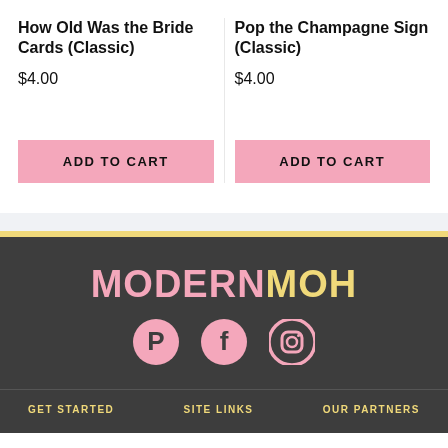How Old Was the Bride Cards (Classic)
$4.00
Pop the Champagne Sign (Classic)
$4.00
ADD TO CART
ADD TO CART
[Figure (logo): ModernMOH logo with MODERN in pink and MOH in yellow, followed by Pinterest, Facebook, and Instagram social media icons in pink]
GET STARTED   SITE LINKS   OUR PARTNERS